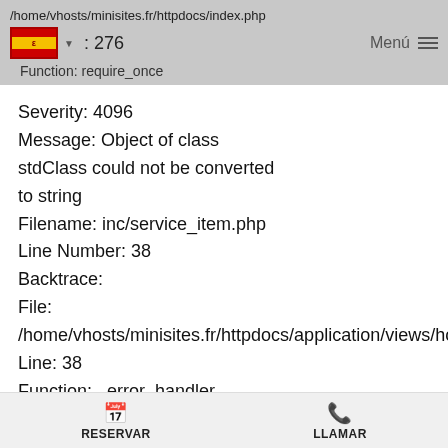/home/vhosts/minisites.fr/httpdocs/index.php
: 276
Function: require_once
Severity: 4096
Message: Object of class stdClass could not be converted to string
Filename: inc/service_item.php
Line Number: 38
Backtrace:
  File:
  /home/vhosts/minisites.fr/httpdocs/application/views/hom
  Line: 38
  Function: _error_handler
  File:
  /home/vhosts/minisites.fr/httpdocs/application/views/hom
  Line: 60
RESERVAR    LLAMAR